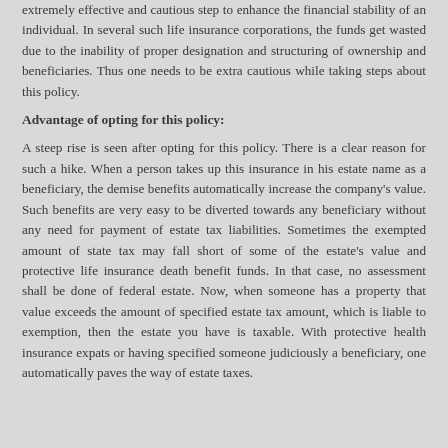extremely effective and cautious step to enhance the financial stability of an individual. In several such life insurance corporations, the funds get wasted due to the inability of proper designation and structuring of ownership and beneficiaries. Thus one needs to be extra cautious while taking steps about this policy.
Advantage of opting for this policy:
A steep rise is seen after opting for this policy. There is a clear reason for such a hike. When a person takes up this insurance in his estate name as a beneficiary, the demise benefits automatically increase the company's value. Such benefits are very easy to be diverted towards any beneficiary without any need for payment of estate tax liabilities. Sometimes the exempted amount of state tax may fall short of some of the estate's value and protective life insurance death benefit funds. In that case, no assessment shall be done of federal estate. Now, when someone has a property that value exceeds the amount of specified estate tax amount, which is liable to exemption, then the estate you have is taxable. With protective health insurance expats or having specified someone judiciously a beneficiary, one automatically paves the way of estate taxes.